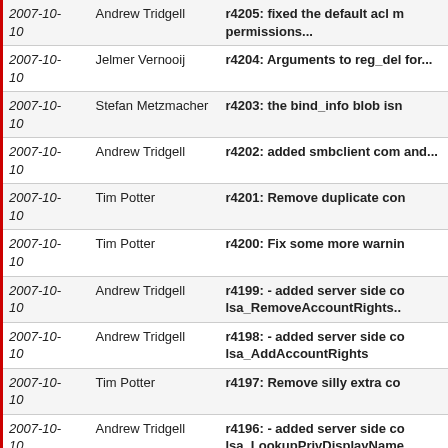| Date | Author | Message |
| --- | --- | --- |
| 2007-10-10 | Andrew Tridgell | r4205: fixed the default acl m permissions... |
| 2007-10-10 | Jelmer Vernooij | r4204: Arguments to reg_del for... |
| 2007-10-10 | Stefan Metzmacher | r4203: the bind_info blob isn |
| 2007-10-10 | Andrew Tridgell | r4202: added smbclient com and... |
| 2007-10-10 | Tim Potter | r4201: Remove duplicate con |
| 2007-10-10 | Tim Potter | r4200: Fix some more warnin |
| 2007-10-10 | Andrew Tridgell | r4199: - added server side co lsa_RemoveAccountRights.. |
| 2007-10-10 | Andrew Tridgell | r4198: - added server side co lsa_AddAccountRights |
| 2007-10-10 | Tim Potter | r4197: Remove silly extra co |
| 2007-10-10 | Andrew Tridgell | r4196: - added server side co lsa_LookupPrivDisplayName |
| 2007-10-10 | Andrew Tridgell | r4195: added IDL, test suite a |